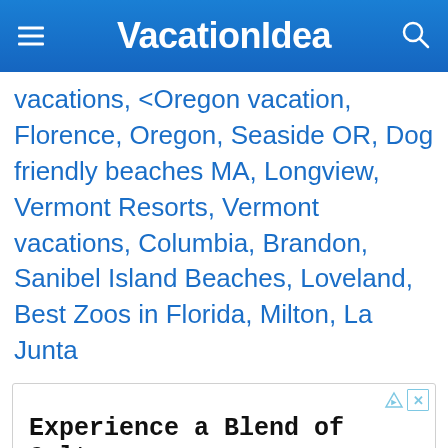VacationIdea
vacations, <Oregon vacation, Florence, Oregon, Seaside OR, Dog friendly beaches MA, Longview, Vermont Resorts, Vermont vacations, Columbia, Brandon, Sanibel Island Beaches, Loveland, Best Zoos in Florida, Milton, La Junta
[Figure (infographic): Advertisement box with ad icons (triangle and X), headline 'Experience a Blend of Culture', subheadline 'Discover the Palm Beaches', body text 'Learn About the Historical Sites & Stories That Shaped the Palm Beaches', and URL 'thepalmbeaches.com']